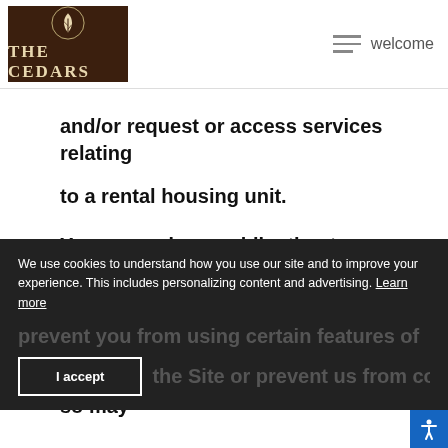THE CEDARS | welcome
and/or request or access services relating to a rental housing unit.
You are under no obligation to provide us with personal information of any kind on the Site; however, your refusal to do so may prevent you from using certain features of the Site or prevent us from communicati...
We use cookies to understand how you use our site and to improve your experience. This includes personalizing content and advertising. Learn more
I accept